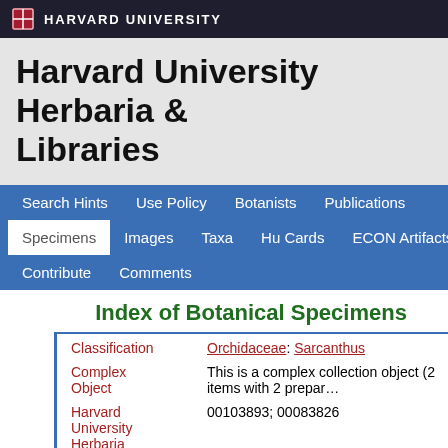HARVARD UNIVERSITY
Harvard University Herbaria & Libraries
Search Hints  Use Policy  Botanists  Publications  Specimens  Images  Taxa  Hu Cards  ECON Artifacts  Contribute  Comments
Index of Botanical Specimens
| Field | Value |
| --- | --- |
| Classification | Orchidaceae: Sarcanthus |
| Complex Object | This is a complex collection object (2 items with 2 prepar… |
| Harvard University Herbaria Barcode(s) | 00103893; 00083826 |
| Type Status | TypeMaterial |
| Collector | W. N. Bangham & C. M. Bangham-Masters |
| Collector | 1195 |